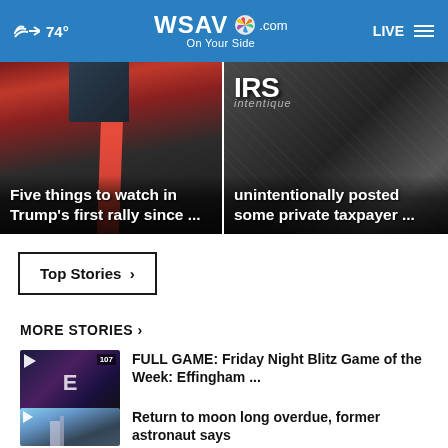☁ 74° | WSAV.com On Your Side | LIVE ☰
[Figure (photo): News card: man in suit with red tie, dark background. Headline: Five things to watch in Trump's first rally since ...]
[Figure (photo): News card: IRS document/sign background. Headline: IRS unintentionally posted some private taxpayer ...]
Top Stories ›
MORE STORIES ›
[Figure (screenshot): Thumbnail for FULL GAME: Friday Night Blitz Game of the Week: Effingham ... video story]
FULL GAME: Friday Night Blitz Game of the Week: Effingham ...
[Figure (photo): Thumbnail for Return to moon long overdue, former astronaut says]
Return to moon long overdue, former astronaut says